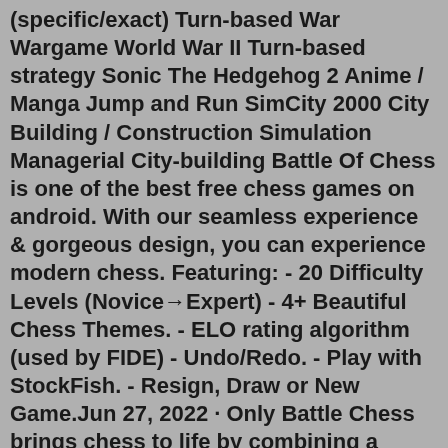(specific/exact) Turn-based War Wargame World War II Turn-based strategy Sonic The Hedgehog 2 Anime / Manga Jump and Run SimCity 2000 City Building / Construction Simulation Managerial City-building Battle Of Chess is one of the best free chess games on android. With our seamless experience & gorgeous design, you can experience modern chess. Featuring: - 20 Difficulty Levels (Novice→Expert) - 4+ Beautiful Chess Themes. - ELO rating algorithm (used by FIDE) - Undo/Redo. - Play with StockFish. - Resign, Draw or New Game.Jun 27, 2022 · Only Battle Chess brings chess to life by combining a magnificent chess logic system with colorful, humorous, and dramatic three-dimensional animations. Battle Chess: Game of Kings A new version of the classic animated chess game for Windows Vista, 7 and 8 is in development! Battle Chess is a video game version of chess in which the chess pieces come to life and battle one another when capturing. Play Battle Chess online!Battle Chess 4000 is an old chess dos game, published in